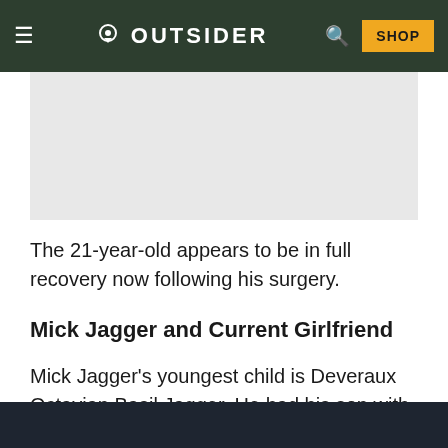≡  ◆ OUTSIDER  🔍  SHOP
[Figure (photo): Gray placeholder image area]
The 21-year-old appears to be in full recovery now following his surgery.
Mick Jagger and Current Girlfriend
Mick Jagger's youngest child is Deveraux Octavian Basil Jagger. He had his son with Melanie Hamrick in December 2016.